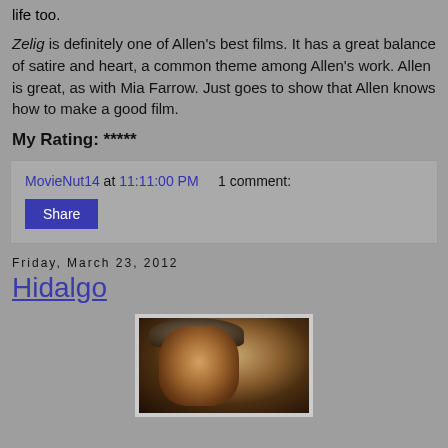life too.
Zelig is definitely one of Allen's best films. It has a great balance of satire and heart, a common theme among Allen's work. Allen is great, as with Mia Farrow. Just goes to show that Allen knows how to make a good film.
My Rating: *****
MovieNut14 at 11:11:00 PM   1 comment:
Share
Friday, March 23, 2012
Hidalgo
[Figure (photo): Movie poster or still from Hidalgo showing a man wearing a cowboy hat]